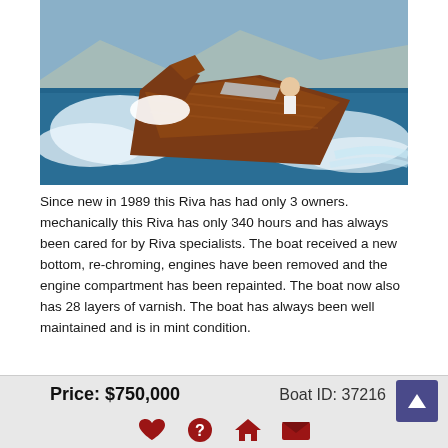[Figure (photo): A wooden Riva speedboat speeding through blue water, bow lifted, with a person at the helm and white wave spray around it. Mountains visible in background.]
Since new in 1989 this Riva has had only 3 owners. mechanically this Riva has only 340 hours and has always been cared for by Riva specialists. The boat received a new bottom, re-chroming, engines have been removed and the engine compartment has been repainted. The boat now also has 28 layers of varnish. The boat has always been well maintained and is in mint condition.
Price: $750,000
Boat ID: 37216